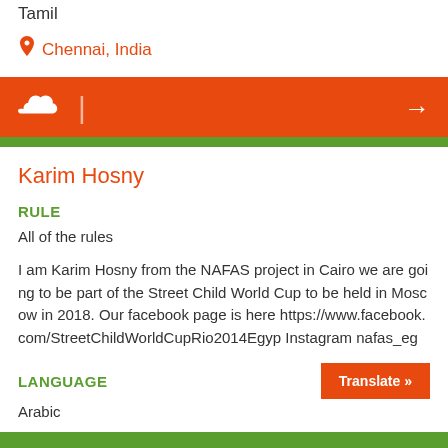Tamil
Chennai, India
[Figure (other): SoundCloud orange bar with SoundCloud icon and right arrow]
Karim Hosny
RULE
All of the rules
I am Karim Hosny from the NAFAS project in Cairo we are going to be part of the Street Child World Cup to be held in Moscow in 2018. Our facebook page is here https://www.facebook.com/StreetChildWorldCupRio2014Egyp Instagram nafas_eg
LANGUAGE
Arabic